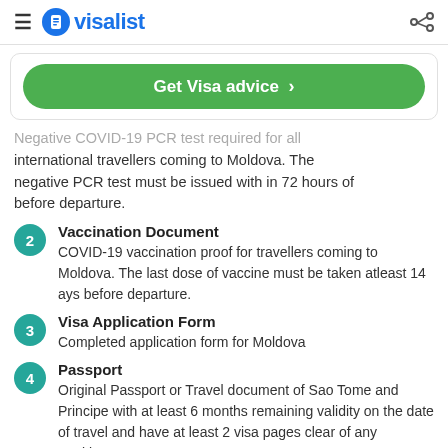visalist
Get Visa advice >
Negative COVID-19 PCR test required for all international travellers coming to Moldova. The negative PCR test must be issued with in 72 hours of before departure.
2 Vaccination Document – COVID-19 vaccination proof for travellers coming to Moldova. The last dose of vaccine must be taken atleast 14 ays before departure.
3 Visa Application Form – Completed application form for Moldova
4 Passport – Original Passport or Travel document of Sao Tome and Principe with at least 6 months remaining validity on the date of travel and have at least 2 visa pages clear of any markings.